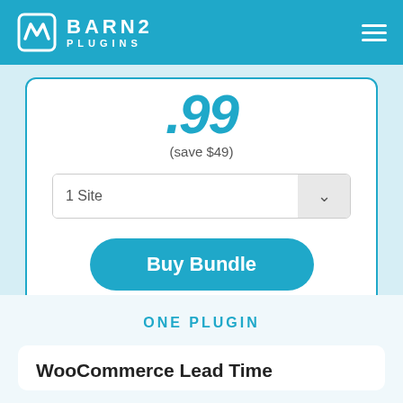BARN2 PLUGINS
.99 (save $49)
1 Site
Buy Bundle
ONE PLUGIN
WooCommerce Lead Time